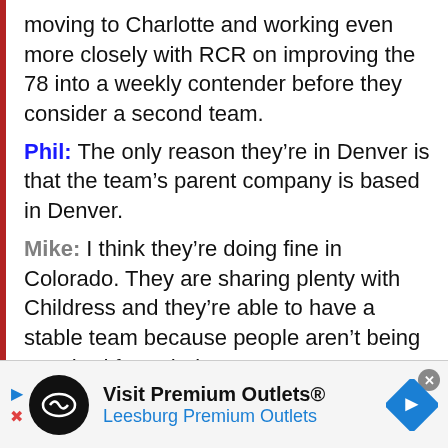moving to Charlotte and working even more closely with RCR on improving the 78 into a weekly contender before they consider a second team.
Phil: The only reason they’re in Denver is that the team’s parent company is based in Denver.
Mike: I think they’re doing fine in Colorado. They are sharing plenty with Childress and they’re able to have a stable team because people aren’t being poached from their roster.
Beth: They seem perfectly happy to stay put in Colorado, and I really don’t think it
[Figure (other): Advertisement banner for Premium Outlets featuring logo, text 'Visit Premium Outlets® Leesburg Premium Outlets', navigation arrows and close button]